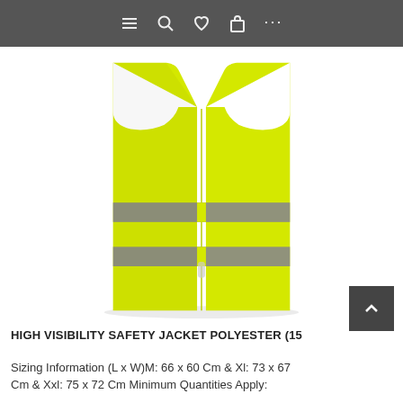[Figure (screenshot): Website navigation toolbar with hamburger menu, search, heart/wishlist, shopping bag, and more (three dots) icons on a dark gray background]
[Figure (photo): High visibility safety vest in bright yellow-green color with two horizontal reflective gray stripes across the midsection. The vest is shown from the front against a white background.]
HIGH VISIBILITY SAFETY JACKET POLYESTER (15...
Sizing Information (L x W)M: 66 x 60 Cm & Xl: 73 x 67 Cm & Xxl: 75 x 72 Cm Minimum Quantities Apply: